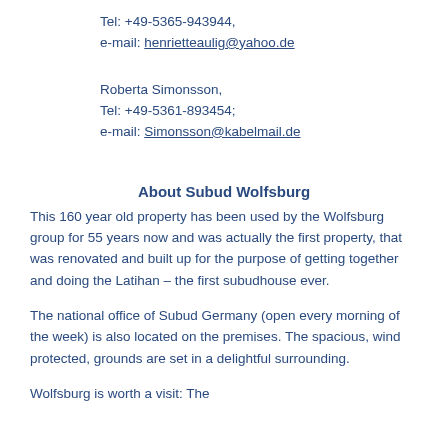Tel: +49-5365-943944,
e-mail: henrietteaulig@yahoo.de
Roberta Simonsson,
Tel: +49-5361-893454;
e-mail: Simonsson@kabelmail.de
About Subud Wolfsburg
This 160 year old property has been used by the Wolfsburg group for 55 years now and was actually the first property, that was renovated and built up for the purpose of getting together and doing the Latihan – the first subudhouse ever.
The national office of Subud Germany (open every morning of the week) is also located on the premises. The spacious, wind protected, grounds are set in a delightful surrounding.
Wolfsburg is worth a visit: The Pu...